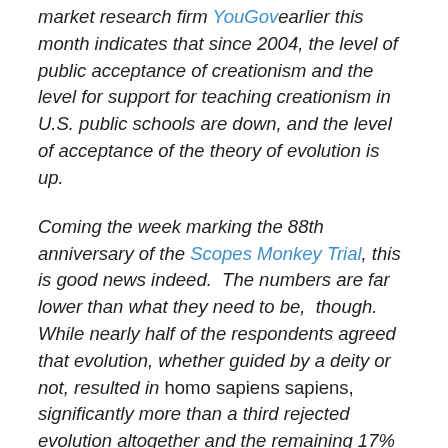market research firm YouGov earlier this month indicates that since 2004, the level of public acceptance of creationism and the level for support for teaching creationism in U.S. public schools are down, and the level of acceptance of the theory of evolution is up.
Coming the week marking the 88th anniversary of the Scopes Monkey Trial, this is good news indeed. The numbers are far lower than what they need to be, though. While nearly half of the respondents agreed that evolution, whether guided by a deity or not, resulted in homo sapiens sapiens, significantly more than a third rejected evolution altogether and the remaining 17% claimed uncertainty.
YouGov's poll marks substantial change from a similar CBS poll conducted in 2004. Thirteen percent of CBS's 2004 respondents agreed with the statement. "Human